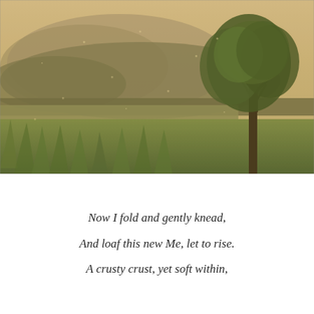[Figure (photo): Landscape photograph showing a golden-hued meadow with tall grasses in the foreground, a large tree on the right side, rolling hills and mountains in the background under a warm hazy sky. The image has a warm amber/golden tone overall.]
Now I fold and gently knead,
And loaf this new Me, let to rise.
A crusty crust, yet soft within,